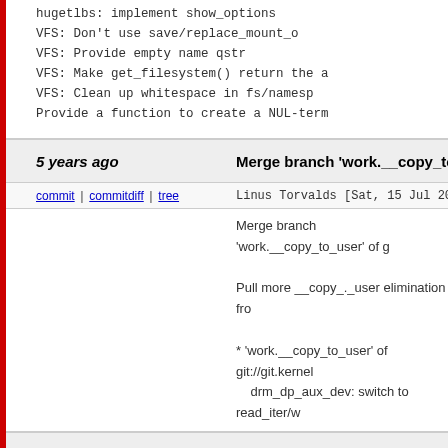hugetlbs: implement show_options
VFS: Don't use save/replace_mount_op
VFS: Provide empty name qstr
VFS: Make get_filesystem() return the a
VFS: Clean up whitespace in fs/namesp
Provide a function to create a NUL-term
5 years ago
Merge branch 'work.__copy_to_user'
commit | commitdiff | tree
Linus Torvalds [Sat, 15 Jul 2017 18:4
Merge branch 'work.__copy_to_user' of g

Pull more __copy_._user elimination fro

* 'work.__copy_to_user' of git://git.kernel
    drm_dp_aux_dev: switch to read_iter/w
5 years ago
Merge branch 'work.uaccess-unaligne
commit | commitdiff | tree
Linus Torvalds [Sat, 15 Jul 2017 18:1
Merge branch 'work.uaccess-unaligned'

Pull uacess-unaligned removal from Al V